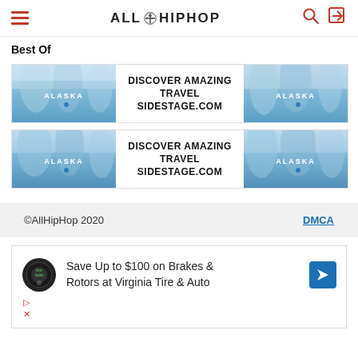AllHipHop
Best Of
[Figure (infographic): Advertisement banner: DISCOVER AMAZING TRAVEL SIDESTAGE.COM with Alaska glacier images on left and right (top)]
[Figure (infographic): Advertisement banner: DISCOVER AMAZING TRAVEL SIDESTAGE.COM with Alaska glacier images on left and right (bottom)]
©AllHipHop 2020   DMCA
[Figure (infographic): Advertisement: Save Up to $100 on Brakes & Rotors at Virginia Tire & Auto with Tire Auto logo and navigation icon]